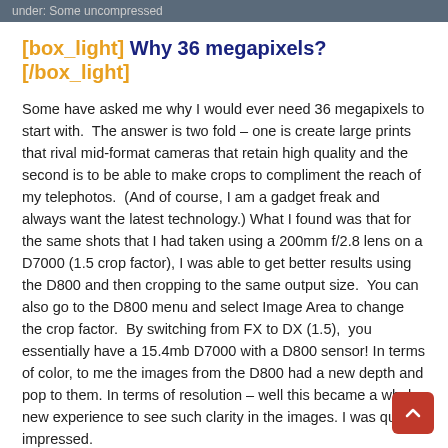under: Some uncompressed
[box_light] Why 36 megapixels?[/box_light]
Some have asked me why I would ever need 36 megapixels to start with.  The answer is two fold – one is create large prints that rival mid-format cameras that retain high quality and the second is to be able to make crops to compliment the reach of my telephotos.  (And of course, I am a gadget freak and always want the latest technology.) What I found was that for the same shots that I had taken using a 200mm f/2.8 lens on a D7000 (1.5 crop factor), I was able to get better results using the D800 and then cropping to the same output size.  You can also go to the D800 menu and select Image Area to change the crop factor.  By switching from FX to DX (1.5),  you essentially have a 15.4mb D7000 with a D800 sensor! In terms of color, to me the images from the D800 had a new depth and pop to them. In terms of resolution – well this became a whole new experience to see such clarity in the images. I was quite impressed.